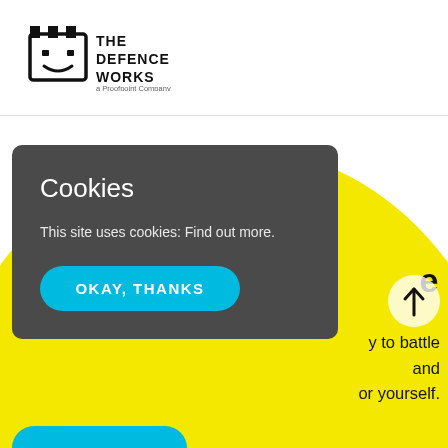[Figure (logo): The Defence Works logo - a Proofpoint Company, with castle/shield icon in black]
Cookies
This site uses cookies: Find out more.
OKAY, THANKS
e
y to battle and or yourself.